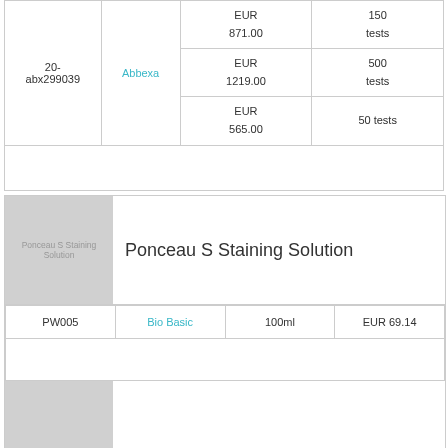|  |  | Price | Quantity |
| --- | --- | --- | --- |
| 20-abx299039 | Abbexa | EUR 871.00
EUR 1219.00
EUR 565.00 | 150 tests
500 tests
50 tests |
|  |  |  |  |
[Figure (photo): Ponceau S Staining Solution product image placeholder]
Ponceau S Staining Solution
| Cat# | Supplier | Size | Price |
| --- | --- | --- | --- |
| PW005 | Bio Basic | 100ml | EUR 69.14 |
|  |  |  |  |
[Figure (photo): Second product image placeholder]